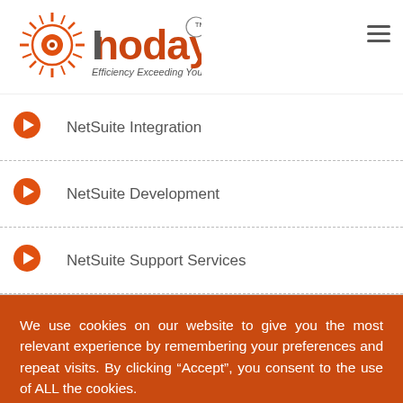[Figure (logo): Inoday logo with sunburst icon and tagline 'Efficiency Exceeding Your Expectations']
NetSuite Integration
NetSuite Development
NetSuite Support Services
We use cookies on our website to give you the most relevant experience by remembering your preferences and repeat visits. By clicking “Accept”, you consent to the use of ALL the cookies.
Do not sell my personal information.